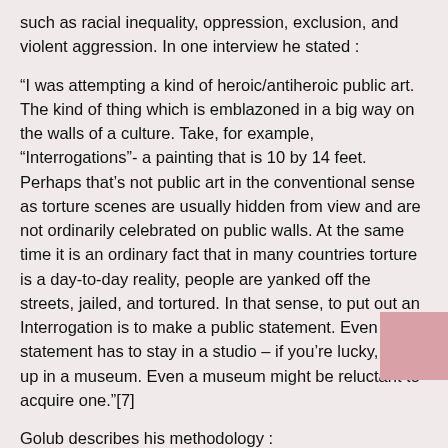such as racial inequality, oppression, exclusion, and violent aggression. In one interview he stated :
“I was attempting a kind of heroic/antiheroic public art. The kind of thing which is emblazoned in a big way on the walls of a culture. Take, for example, “Interrogations”- a painting that is 10 by 14 feet. Perhaps that’s not public art in the conventional sense as torture scenes are usually hidden from view and are not ordinarily celebrated on public walls. At the same time it is an ordinary fact that in many countries torture is a day-to-day reality, people are yanked off the streets, jailed, and tortured. In that sense, to put out an Interrogation is to make a public statement. Even if the statement has to stay in a studio – if you’re lucky, end up in a museum. Even a museum might be reluctant to acquire one.”[7]
Golub describes his methodology :
“I’m always on the hunt for source material. I have a huge collection of photographs as I’ve been doing this